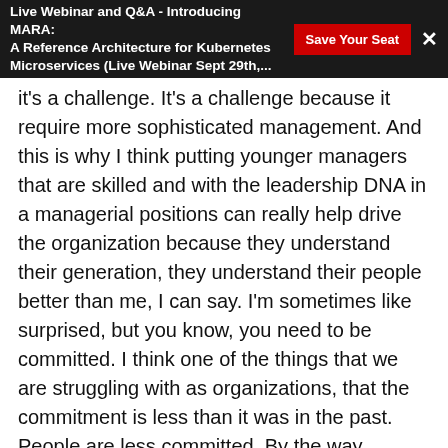Live Webinar and Q&A - Introducing MARA: A Reference Architecture for Kubernetes Microservices (Live Webinar Sept 29th,... | Save Your Seat | X
it's a challenge. It's a challenge because it require more sophisticated management. And this is why I think putting younger managers that are skilled and with the leadership DNA in a managerial positions can really help drive the organization because they understand their generation, they understand their people better than me, I can say. I'm sometimes like surprised, but you know, you need to be committed. I think one of the things that we are struggling with as organizations, that the commitment is less than it was in the past. People are less committed. By the way, organizations as well are less committed. The commitment is not that strong as it was.
Shane Hastie: Where do I learn these skills as a manager?